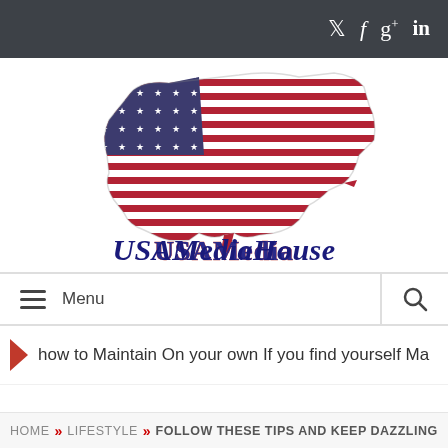Social icons bar (Twitter, Facebook, Google+, LinkedIn)
[Figure (logo): USA Media House logo with US map shape filled with American flag pattern and text 'USAMediaHouse' in decorative script below]
Menu | Search
how to Maintain On your own If you find yourself Ma
HOME » LIFESTYLE » FOLLOW THESE TIPS AND KEEP DAZZLING